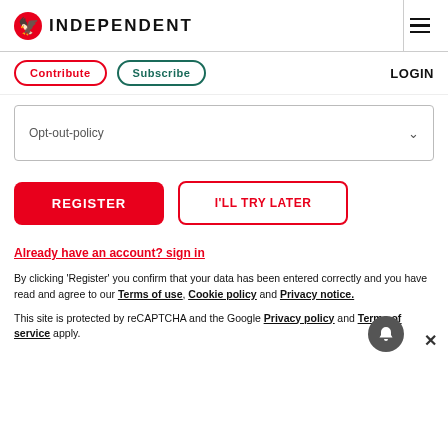INDEPENDENT
Contribute  Subscribe  LOGIN
Opt-out-policy
REGISTER
I'LL TRY LATER
Already have an account? sign in
By clicking 'Register' you confirm that your data has been entered correctly and you have read and agree to our Terms of use, Cookie policy and Privacy notice.
This site is protected by reCAPTCHA and the Google Privacy policy and Terms of service apply.